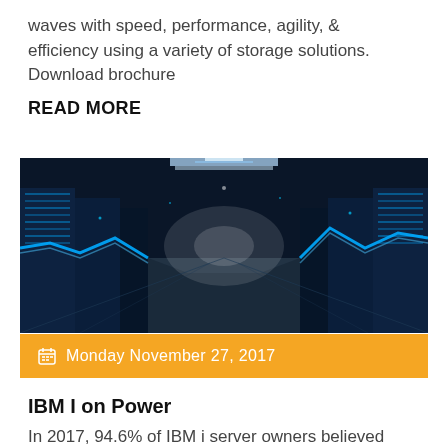waves with speed, performance, agility, & efficiency using a variety of storage solutions. Download brochure
READ MORE
[Figure (photo): Data center corridor with blue glowing server racks and neon light trails]
Monday November 27, 2017
IBM I on Power
In 2017, 94.6% of IBM i server owners believed their servers offered better ROI than the